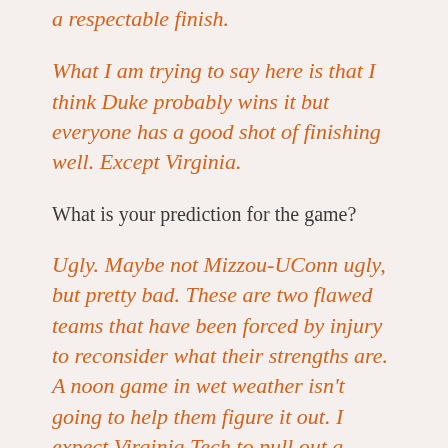a respectable finish.
What I am trying to say here is that I think Duke probably wins it but everyone has a good shot of finishing well. Except Virginia.
What is your prediction for the game?
Ugly. Maybe not Mizzou-UConn ugly, but pretty bad. These are two flawed teams that have been forced by injury to reconsider what their strengths are. A noon game in wet weather isn’t going to help them figure it out. I expect Virginia Tech to pull out a victory because they’re more talented on defense. If Pitt can figure out an offensive recipe that works–and it was in the VT